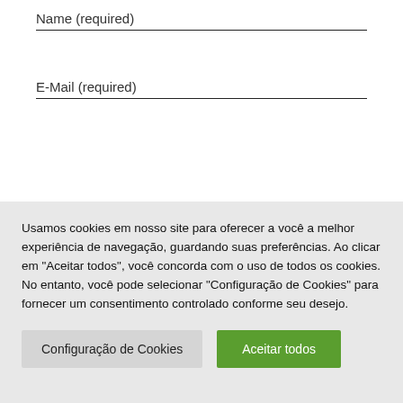Name (required)
E-Mail (required)
Usamos cookies em nosso site para oferecer a você a melhor experiência de navegação, guardando suas preferências. Ao clicar em "Aceitar todos", você concorda com o uso de todos os cookies. No entanto, você pode selecionar "Configuração de Cookies" para fornecer um consentimento controlado conforme seu desejo.
Configuração de Cookies
Aceitar todos